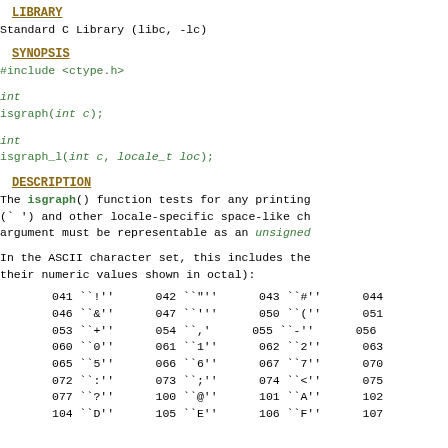LIBRARY
Standard C Library (libc, -lc)
SYNOPSIS
#include <ctype.h>
int
isgraph(int c);
int
isgraph_l(int c, locale_t loc);
DESCRIPTION
The isgraph() function tests for any printing
(` ') and other locale-specific space-like ch
argument must be representable as an unsigned
In the ASCII character set, this includes the
their numeric values shown in octal):
041 ``!''      042 ``"''      043 ``#''      044
046 ``&''      047 ``'''      050 ``(''      051
053 ``+''      054 ``,'      055 ``-''      056
060 ``0''      061 ``1''      062 ``2''      063
065 ``5''      066 ``6''      067 ``7''      070
072 ``:''      073 ``;''      074 ``<''      075
077 ``?''      100 ``@''      101 ``A''      102
104 ``D''      105 ``E''      106 ``F''      107